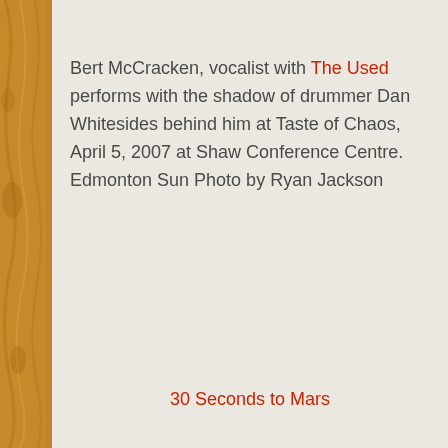Bert McCracken, vocalist with The Used performs with the shadow of drummer Dan Whitesides behind him at Taste of Chaos, April 5, 2007 at Shaw Conference Centre. Edmonton Sun Photo by Ryan Jackson
30 Seconds to Mars